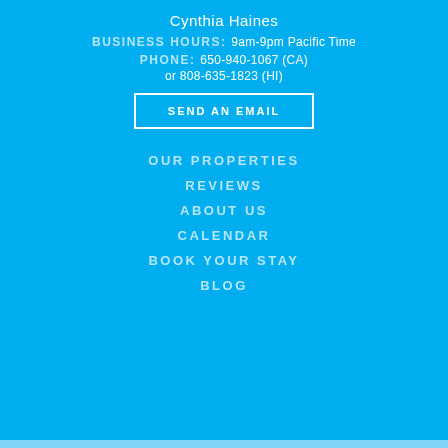Cynthia Haines
BUSINESS HOURS: 9am-9pm Pacific Time
PHONE: 650-940-1067 (CA)
or 808-635-1823 (HI)
SEND AN EMAIL
OUR PROPERTIES
REVIEWS
ABOUT US
CALENDAR
BOOK YOUR STAY
BLOG